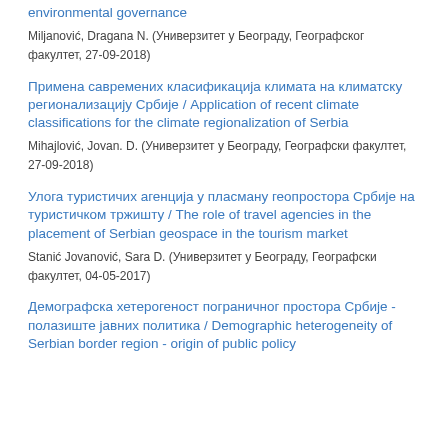environmental governance
Miljanović, Dragana N. (Универзитет у Београду, Географског факултет, 27-09-2018)
Примена савремених класификација климата на климатску регионализацију Србије / Application of recent climate classifications for the climate regionalization of Serbia
Mihajlović, Jovan. D. (Универзитет у Београду, Географски факултет, 27-09-2018)
Улога туристичих агенција у пласману геопростора Србије на туристичком тржишту / The role of travel agencies in the placement of Serbian geospace in the tourism market
Stanić Jovanović, Sara D. (Универзитет у Београду, Географски факултет, 04-05-2017)
Демографска хетерогеност пограничног простора Србије - полазиште јавних политика / Demographic heterogeneity of Serbian border region - origin of public policy